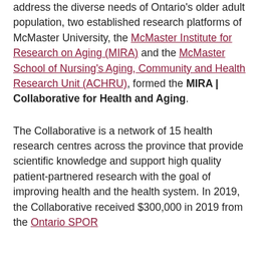address the diverse needs of Ontario's older adult population, two established research platforms of McMaster University, the McMaster Institute for Research on Aging (MIRA) and the McMaster School of Nursing's Aging, Community and Health Research Unit (ACHRU), formed the MIRA | Collaborative for Health and Aging.
The Collaborative is a network of 15 health research centres across the province that provide scientific knowledge and support high quality patient-partnered research with the goal of improving health and the health system. In 2019, the Collaborative received $300,000 in 2019 from the Ontario SPOR